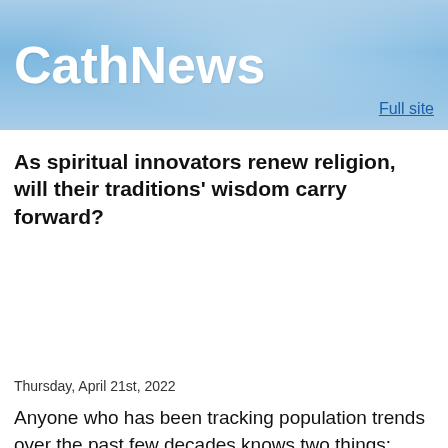CathNews
As spiritual innovators renew religion, will their traditions' wisdom carry forward?
Thursday, April 21st, 2022
Anyone who has been tracking population trends over the past few decades knows two things: America is growing more diverse, and Americans